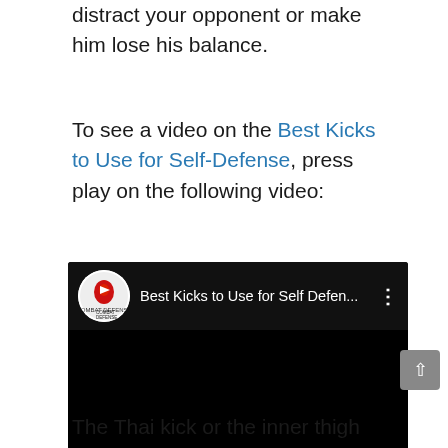distract your opponent or make him lose his balance.
To see a video on the Best Kicks to Use for Self-Defense, press play on the following video:
[Figure (screenshot): Embedded YouTube video thumbnail with black background. Shows channel logo (Combat Defense circular logo) on the left, video title 'Best Kicks to Use for Self Defen...' in white text, and a three-dot menu icon on the right.]
The Thai kick or the inner thigh kick are a